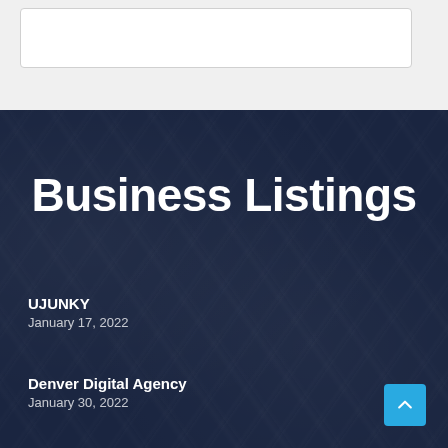[Figure (screenshot): White card/box element at top of page on light gray background]
Business Listings
UJUNKY
January 17, 2022
Denver Digital Agency
January 30, 2022